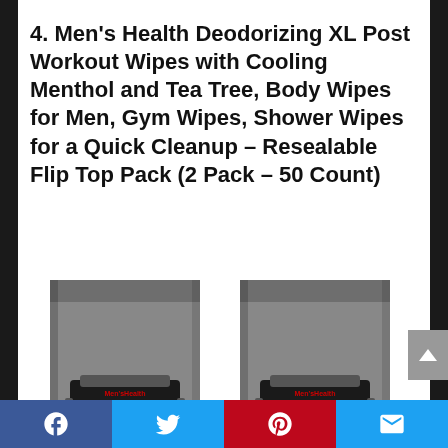4. Men's Health Deodorizing XL Post Workout Wipes with Cooling Menthol and Tea Tree, Body Wipes for Men, Gym Wipes, Shower Wipes for a Quick Cleanup – Resealable Flip Top Pack (2 Pack – 50 Count)
[Figure (photo): Two grey packages of Men's Health XXL Post Workout Wipes side by side, each with a black label showing the brand name and product details]
Social share bar with Facebook, Twitter, Pinterest, and Email buttons